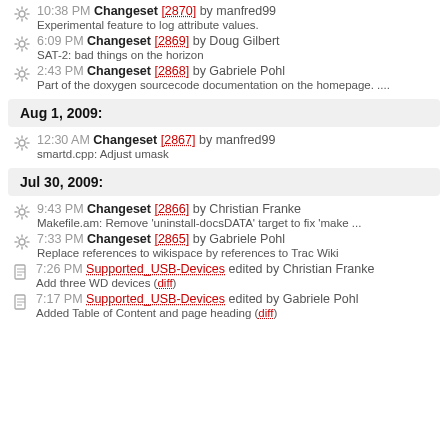10:38 PM Changeset [2870] by manfred99 — Experimental feature to log attribute values.
6:09 PM Changeset [2869] by Doug Gilbert — SAT-2: bad things on the horizon
2:43 PM Changeset [2868] by Gabriele Pohl — Part of the doxygen sourcecode documentation on the homepage. ...
Aug 1, 2009:
12:30 AM Changeset [2867] by manfred99 — smartd.cpp: Adjust umask
Jul 30, 2009:
9:43 PM Changeset [2866] by Christian Franke — Makefile.am: Remove 'uninstall-docsDATA' target to fix 'make ...
7:33 PM Changeset [2865] by Gabriele Pohl — Replace references to wikispace by references to Trac Wiki
7:26 PM Supported_USB-Devices edited by Christian Franke — Add three WD devices (diff)
7:17 PM Supported_USB-Devices edited by Gabriele Pohl — Added Table of Content and page heading (diff)